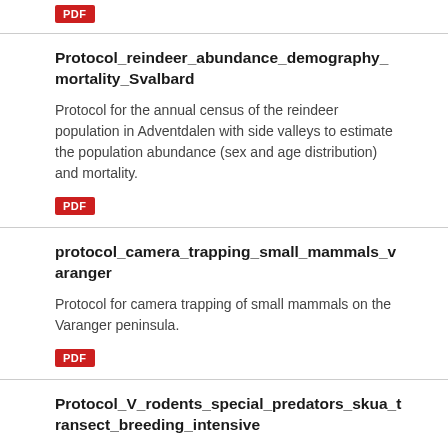[Figure (other): Red PDF badge button at top of page]
Protocol_reindeer_abundance_demography_mortality_Svalbard
Protocol for the annual census of the reindeer population in Adventdalen with side valleys to estimate the population abundance (sex and age distribution) and mortality.
[Figure (other): Red PDF badge button]
protocol_camera_trapping_small_mammals_varanger
Protocol for camera trapping of small mammals on the Varanger peninsula.
[Figure (other): Red PDF badge button]
Protocol_V_rodents_special_predators_skua_transect_breeding_intensive